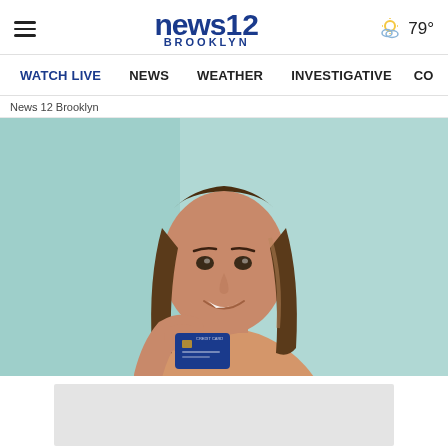news12 BROOKLYN — WATCH LIVE | NEWS | WEATHER | INVESTIGATIVE | CO
News 12 Brooklyn
[Figure (photo): Young woman with long brown hair smiling, wearing a beige top, holding a blue credit card, against a light teal background.]
[Figure (other): Gray advertisement placeholder rectangle]